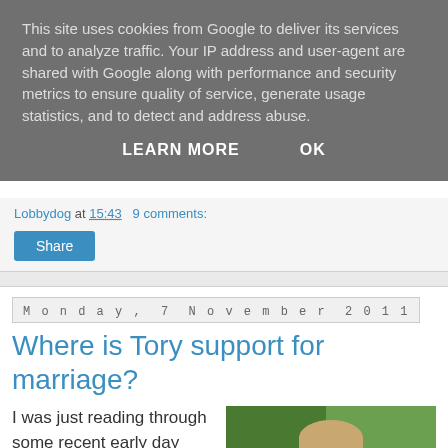This site uses cookies from Google to deliver its services and to analyze traffic. Your IP address and user-agent are shared with Google along with performance and security metrics to ensure quality of service, generate usage statistics, and to detect and address abuse.
LEARN MORE   OK
Lobbydog at 15:43   9 comments:
Share
Monday, 7 November 2011
Where is Tory support for marriage?
I was just reading through some recent early day motions when I saw this one today backing the “Faithfulness Matters” campaign.
It’s basically saying that
[Figure (photo): Photo of a man in a white shirt and blue tie, gesturing with both hands, with a green background. Appears to be a political figure (David Cameron).]